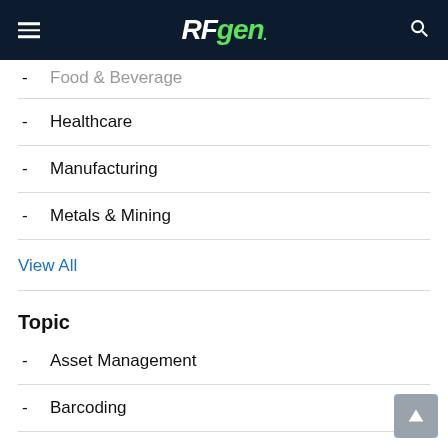RFgen
- Food & Beverage (partial/cut off)
- Healthcare
- Manufacturing
- Metals & Mining
View All
Topic
- Asset Management
- Barcoding
- Compliance
- COVID-19